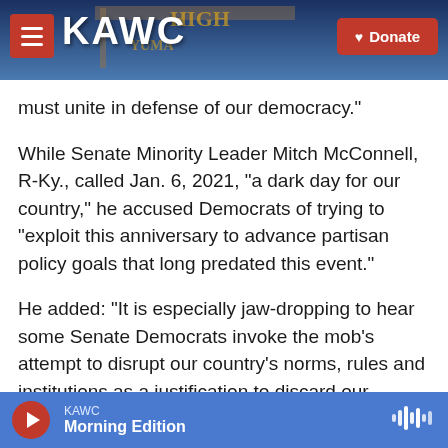KAWC — Donate
must unite in defense of our democracy."
While Senate Minority Leader Mitch McConnell, R-Ky., called Jan. 6, 2021, "a dark day for our country," he accused Democrats of trying to "exploit this anniversary to advance partisan policy goals that long predated this event."
He added: "It is especially jaw-dropping to hear some Senate Democrats invoke the mob's attempt to disrupt our country's norms, rules and institutions as a justification to discard our norms, rules, and institutions themselves."
KAWC — Morning Edition